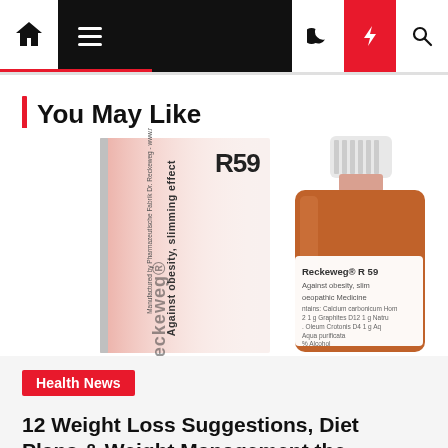Navigation bar with home, menu, dark mode, flash, and search icons
You May Like
[Figure (photo): Reckeweg R59 homeopathic medicine product: a white carton box labeled R59 'Against obesity, slimming effect' and an amber glass dropper bottle labeled 'Reckeweg R 59 Against obesity, slimming effect. Homoeopathic Medicine. Contains: Calcium carbonicum, Graphites D12, Natrum, Oleum Crotonis D4, Aqua purificata, Alcohol']
Health News
12 Weight Loss Suggestions, Diet Plans & Weight Management the